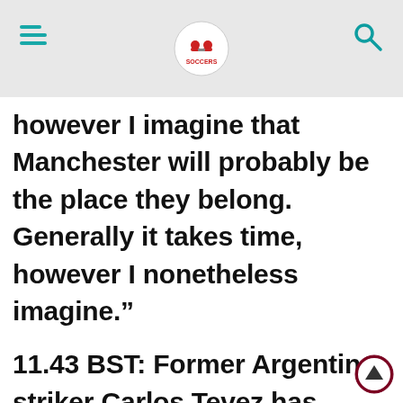[hamburger menu] [logo] [search icon]
however I imagine that Manchester will probably be the place they belong. Generally it takes time, however I nonetheless imagine.”
11.43 BST: Former Argentina striker Carlos Tevez has retired from skilled soccer, one 12